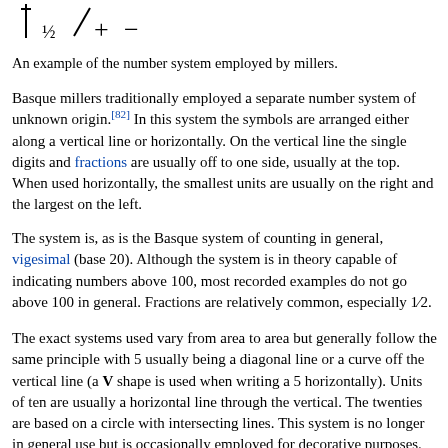[Figure (illustration): Symbols from the Basque miller number system: a vertical line with a tick, a fraction symbol resembling ½, a diagonal slash, a plus sign, and a minus sign.]
An example of the number system employed by millers.
Basque millers traditionally employed a separate number system of unknown origin.[82] In this system the symbols are arranged either along a vertical line or horizontally. On the vertical line the single digits and fractions are usually off to one side, usually at the top. When used horizontally, the smallest units are usually on the right and the largest on the left.
The system is, as is the Basque system of counting in general, vigesimal (base 20). Although the system is in theory capable of indicating numbers above 100, most recorded examples do not go above 100 in general. Fractions are relatively common, especially 1⁄2.
The exact systems used vary from area to area but generally follow the same principle with 5 usually being a diagonal line or a curve off the vertical line (a V shape is used when writing a 5 horizontally). Units of ten are usually a horizontal line through the vertical. The twenties are based on a circle with intersecting lines. This system is no longer in general use but is occasionally employed for decorative purposes.